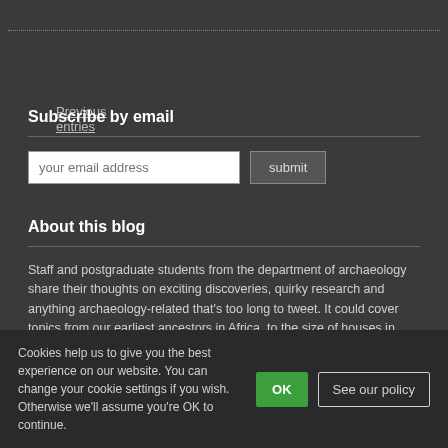Previous entries
Subscribe by email
your email address
submit
About this blog
Staff and postgraduate students from the department of archaeology share their thoughts on exciting discoveries, quirky research and anything archaeology-related that's too long to tweet. It could cover topics from our earliest ancestors in Africa, to the size of houses in Norwich, and anything in between. The title reflects the fact that you don't have to be excavating to be an archaeologist.
Useful links
Department of Archaeology
Cookies help us to give you the best experience on our website. You can change your cookie settings if you wish. Otherwise we'll assume you're OK to continue.
OK
See our policy